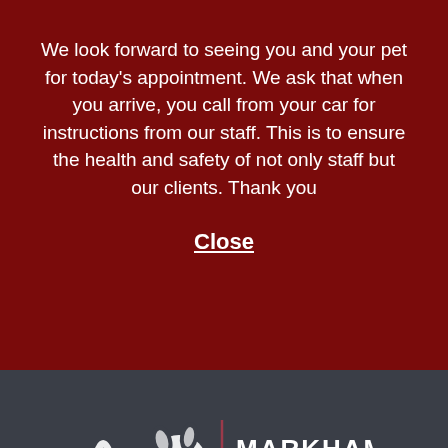We look forward to seeing you and your pet for today's appointment. We ask that when you arrive, you call from your car for instructions from our staff. This is to ensure the health and safety of not only staff but our clients. Thank you
Close
[Figure (logo): Markham Animal Clinic logo: white dog/cat silhouette with a pink vertical divider and white text reading MARKHAM ANIMAL CLINIC on dark gray background]
Home > Articles > Choosing Your Pet > Exotics > Reptiles > Turtles > Red Eared Sliders